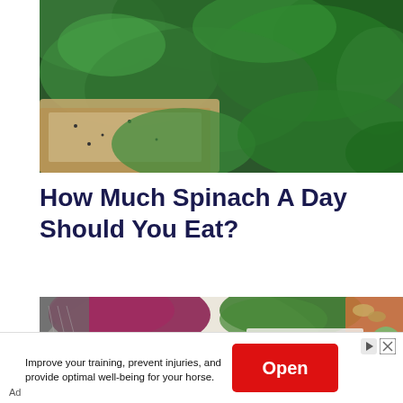[Figure (photo): Close-up photo of spinach leaves and bread with spread, top-down view]
How Much Spinach A Day Should You Eat?
[Figure (photo): Top-down view of a bowl with sliced radishes, red cabbage, cilantro, cucumber, rice and other vegetables]
Improve your training, prevent injuries, and provide optimal well-being for your horse.
Ad
Open